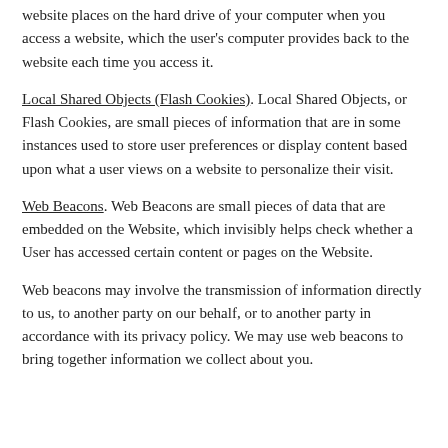website places on the hard drive of your computer when you access a website, which the user's computer provides back to the website each time you access it.
Local Shared Objects (Flash Cookies). Local Shared Objects, or Flash Cookies, are small pieces of information that are in some instances used to store user preferences or display content based upon what a user views on a website to personalize their visit.
Web Beacons. Web Beacons are small pieces of data that are embedded on the Website, which invisibly helps check whether a User has accessed certain content or pages on the Website.
Web beacons may involve the transmission of information directly to us, to another party on our behalf, or to another party in accordance with its privacy policy. We may use web beacons to bring together information we collect about you.